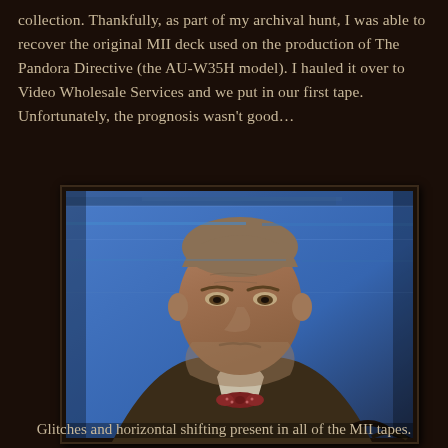collection. Thankfully, as part of my archival hunt, I was able to recover the original MII deck used on the production of The Pandora Directive (the AU-W35H model). I hauled it over to Video Wholesale Services and we put in our first tape. Unfortunately, the prognosis wasn't good...
[Figure (photo): A screenshot from a television screen showing an elderly man in a dark blazer and bow tie, with a blue background behind him. The image shows glitching and horizontal shifting artifacts typical of degraded MII tape playback.]
Glitches and horizontal shifting present in all of the MII tapes.